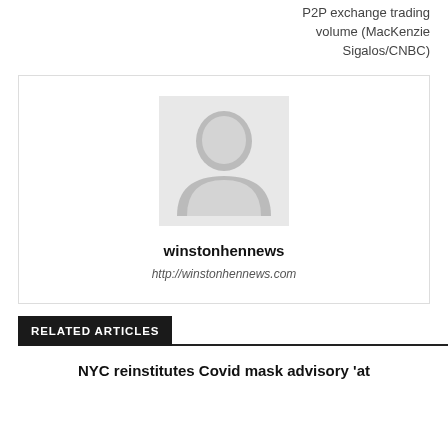P2P exchange trading volume (MacKenzie Sigalos/CNBC)
[Figure (illustration): Generic user avatar placeholder image — grey background with white silhouette of a person]
winstonhennews
http://winstonhennews.com
RELATED ARTICLES
NYC reinstitutes Covid mask advisory 'at